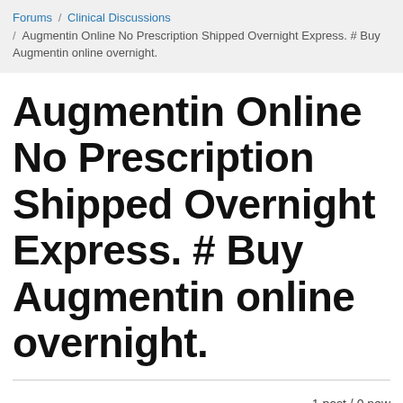Forums / Clinical Discussions / Augmentin Online No Prescription Shipped Overnight Express. # Buy Augmentin online overnight.
Augmentin Online No Prescription Shipped Overnight Express. # Buy Augmentin online overnight.
1 post / 0 new
Fri, 04/19/2019 - 13:15  #1
Afefarm
Augmentin Online No Prescription Shipped Overnight Express. # Buy Augmentin online overnight.